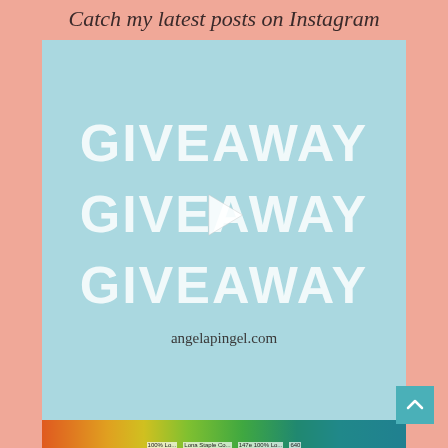Catch my latest posts on Instagram
[Figure (screenshot): Instagram post screenshot on light blue background showing the word GIVEAWAY repeated three times in large white bold text, with a video play button in the center, and the URL angelapingel.com at the bottom]
[Figure (photo): Bottom portion of a photo showing colorful spools of thread/sewing thread in red, orange, yellow, green, teal colors with labels visible]